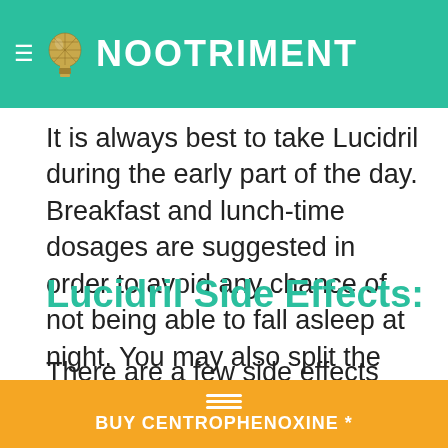NOOTRIMENT
It is always best to take Lucidril during the early part of the day. Breakfast and lunch-time dosages are suggested in order to avoid any chance of not being able to fall asleep at night. You may also split the daily dosage into several different administrations.
Lucidril Side Effects:
There are a few side effects associated with Lucidril usage. T... aches, neck
BUY CENTROPHENOXINE *